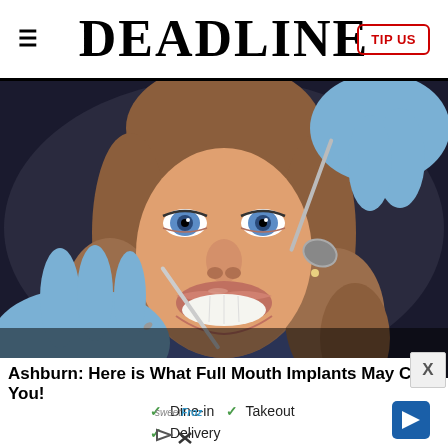DEADLINE
[Figure (photo): Young woman smiling at dental exam with dental tools and gloved hands near her mouth]
Ashburn: Here is What Full Mouth Implants May Cost You!
[Figure (infographic): Advertisement panel showing sweetFroz logo with checkmarks for Dine-in, Takeout, Delivery, and a navigation arrow icon]